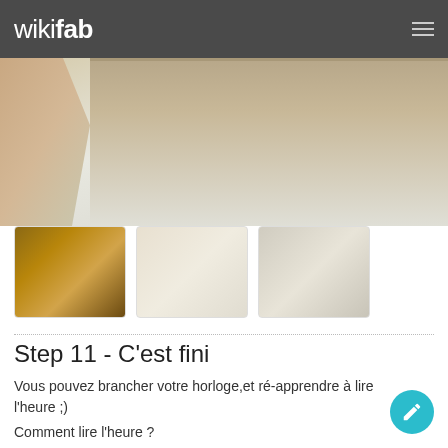wikifab
[Figure (photo): Main photo showing a hand placing or holding a flat board/sheet on a wooden surface]
[Figure (photo): Thumbnail 1: wooden box with compartments]
[Figure (photo): Thumbnail 2: white/light colored box or tray]
[Figure (photo): Thumbnail 3: box with clock face or similar]
Step 11 - C'est fini
Vous pouvez brancher votre horloge,et ré-apprendre à lire l'heure ;)
Comment lire l'heure ?
Les carrés ont les valeurs de la suite de fibonacci (du plus petit au plus grand) :
1 1 2 3 5
Les carrés rouges sont pour les heures